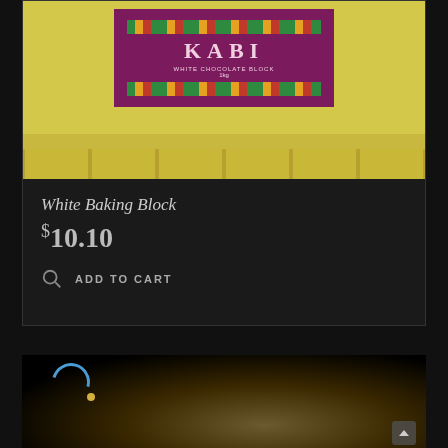[Figure (photo): KABI White Chocolate Block 1kg product packaging with purple label featuring decorative African kente-style border in green, orange and red. Yellow background with wooden shelf slots visible at bottom.]
White Baking Block
$10.10
ADD TO CART
[Figure (photo): Partial product image with dark background, blue circular loader icon, and faint illuminated product packaging.]